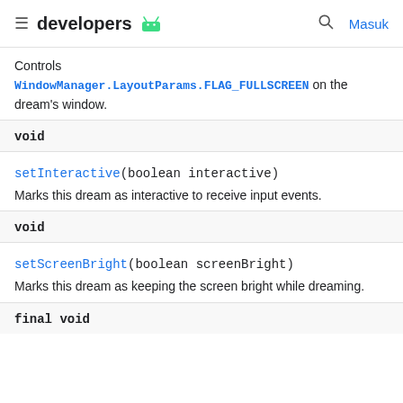developers [Android logo] [Search] Masuk
Controls WindowManager.LayoutParams.FLAG_FULLSCREEN on the dream's window.
| Return type | Method |
| --- | --- |
| void | setInteractive(boolean interactive)
Marks this dream as interactive to receive input events. |
| void | setScreenBright(boolean screenBright)
Marks this dream as keeping the screen bright while dreaming. |
| final void |  |